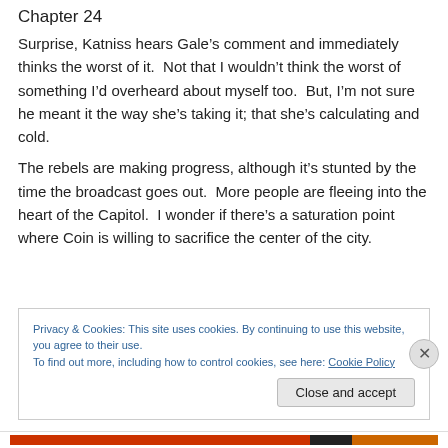Chapter 24
Surprise, Katniss hears Gale’s comment and immediately thinks the worst of it.  Not that I wouldn’t think the worst of something I’d overheard about myself too.  But, I’m not sure he meant it the way she’s taking it; that she’s calculating and cold.
The rebels are making progress, although it’s stunted by the time the broadcast goes out.  More people are fleeing into the heart of the Capitol.  I wonder if there’s a saturation point where Coin is willing to sacrifice the center of the city.
Privacy & Cookies: This site uses cookies. By continuing to use this website, you agree to their use.
To find out more, including how to control cookies, see here: Cookie Policy